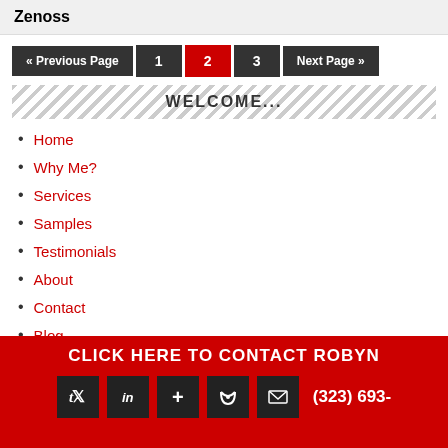Zenoss
« Previous Page  1  2  3  Next Page »
WELCOME...
Home
Why Me?
Services
Samples
Testimonials
About
Contact
Blog
CLICK HERE TO CONTACT ROBYN
(323) 693-